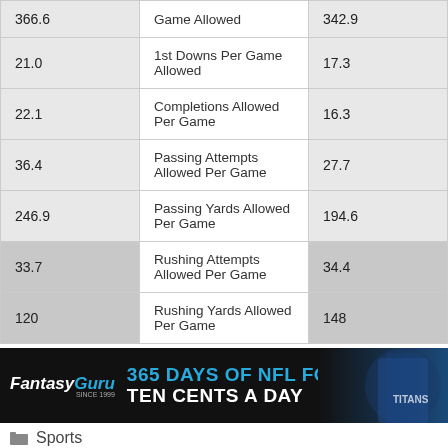| Team Stat | Category | Opponent Stat |
| --- | --- | --- |
| 366.6 | Game Allowed | 342.9 |
| 21.0 | 1st Downs Per Game Allowed | 17.3 |
| 22.1 | Completions Allowed Per Game | 16.3 |
| 36.4 | Passing Attempts Allowed Per Game | 27.7 |
| 246.9 | Passing Yards Allowed Per Game | 194.6 |
| 33.7 | Rushing Attempts Allowed Per Game | 34.4 |
| 120 | Rushing Yards Allowed Per Game | 148 |
[Figure (photo): FantasyGuru advertisement banner: '365 DAYS OF NFL FOR TEN CENTS A DAY' with a football player in the background]
Sports